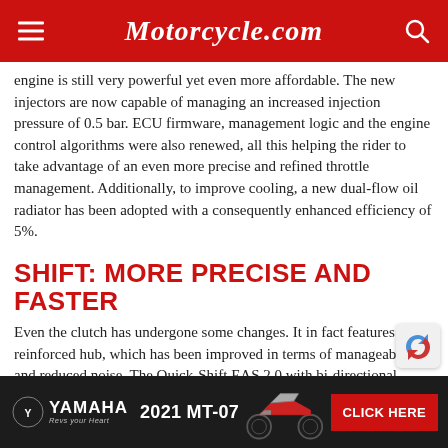Motorcycle.com
engine is still very powerful yet even more affordable. The new injectors are now capable of managing an increased injection pressure of 0.5 bar. ECU firmware, management logic and the engine control algorithms were also renewed, all this helping the rider to take advantage of an even more precise and refined throttle management. Additionally, to improve cooling, a new dual-flow oil radiator has been adopted with a consequently enhanced efficiency of 5%.
SHIFT: MORE PRECISE AND FASTER
Even the clutch has undergone some changes. It in fact features a reinforced hub, which has been improved in terms of manageability and reduced noise. The Quick-Shift EAS 2.0 with bi-directional function is in its third generation and enha…
[Figure (infographic): Yamaha 2021 MT-07 advertisement banner with Yamaha logo, motorcycle image, and CLICK HERE button]